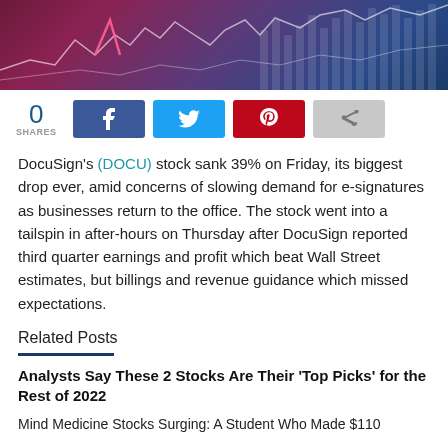[Figure (illustration): Stock market chart hero image with pink/purple/blue gradient background and white line chart overlaid]
0
SHARES
DocuSign's (DOCU) stock sank 39% on Friday, its biggest drop ever, amid concerns of slowing demand for e-signatures as businesses return to the office. The stock went into a tailspin in after-hours on Thursday after DocuSign reported third quarter earnings and profit which beat Wall Street estimates, but billings and revenue guidance which missed expectations.
Related Posts
Analysts Say These 2 Stocks Are Their 'Top Picks' for the Rest of 2022
Mind Medicine Stocks Surging: A Student Who Made $110